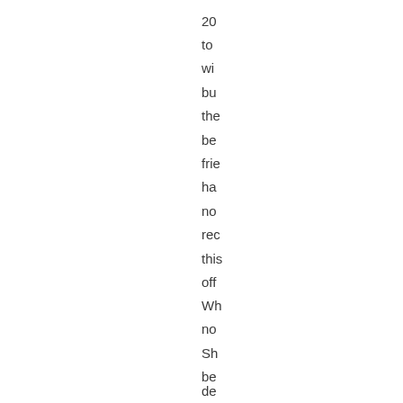20
to
wi
bu
the
be
frie
ha
no
rec
this
off
Wh
no
Sh
be
de